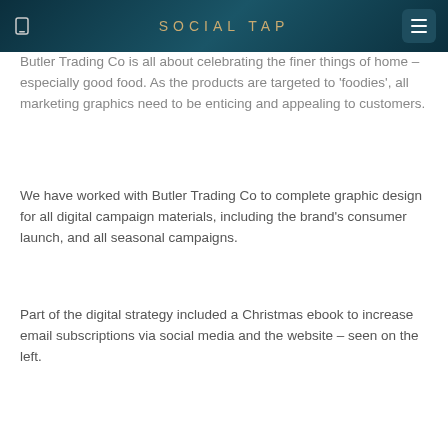SOCIAL TAP
Butler Trading Co is all about celebrating the finer things of home – especially good food. As the products are targeted to 'foodies', all marketing graphics need to be enticing and appealing to customers.
We have worked with Butler Trading Co to complete graphic design for all digital campaign materials, including the brand's consumer launch, and all seasonal campaigns.
Part of the digital strategy included a Christmas ebook to increase email subscriptions via social media and the website – seen on the left.